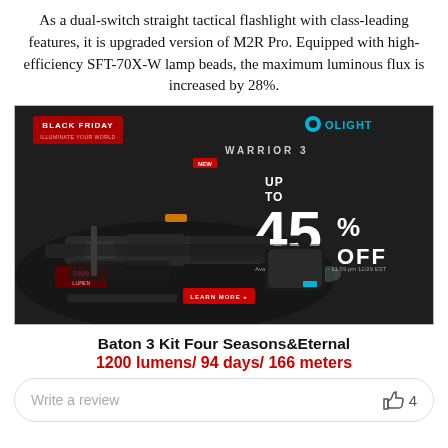As a dual-switch straight tactical flashlight with class-leading features, it is upgraded version of M2R Pro. Equipped with high-efficiency SFT-70X-W lamp beads, the maximum luminous flux is increased by 28%.
[Figure (photo): Olight Black Friday promotional advertisement for Warrior 3 flashlight showing up to 45% off deal, with flashlight product displayed on dark textured background]
Baton 3 Kit Four Seasons&Eternal
1200 lumens/ 94 days/ 166 meters
Write a review   4